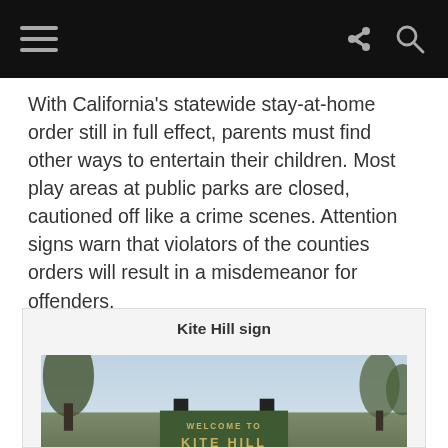[navigation bar with hamburger menu, share icon, search icon]
With California’s statewide stay-at-home order still in full effect, parents must find other ways to entertain their children. Most play areas at public parks are closed, cautioned off like a crime scenes. Attention signs warn that violators of the counties orders will result in a misdemeanor for offenders.
Kite Hill sign
[Figure (photo): Photograph of a 'Welcome to Kite Hill' sign outdoors, with a dark green sign board mounted on two dark posts, trees in the background, and a light blue sky.]